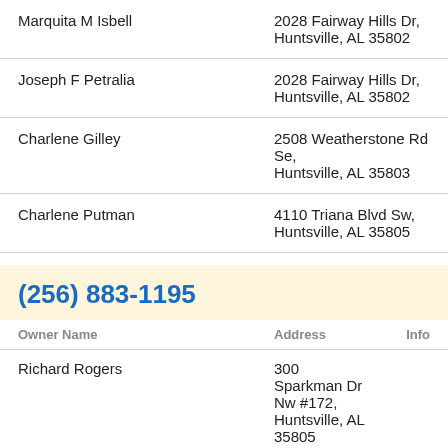| Owner Name | Address |
| --- | --- |
| Marquita M Isbell | 2028 Fairway Hills Dr, Huntsville, AL 35802 |
| Joseph F Petralia | 2028 Fairway Hills Dr, Huntsville, AL 35802 |
| Charlene Gilley | 2508 Weatherstone Rd Se, Huntsville, AL 35803 |
| Charlene Putman | 4110 Triana Blvd Sw, Huntsville, AL 35805 |
(256) 883-1195
| Owner Name | Address | Info |
| --- | --- | --- |
| Richard Rogers | 300 Sparkman Dr Nw #172, Huntsville, AL 35805 |  |
| Richard Rogers | 1037 Toney Dr Se, Huntsville, AL 35802 |  |
| Debbie Schoenberger | 3804 Colonial Park, Huntsville, AL 35805 |  |
| Richard Rogers | 8327 Whitesburg Way #131, Huntsville, AL 35802 |  |
| Richard Rogers | 10005 Meredith Ln Se, Huntsville, AL 35803 |  |